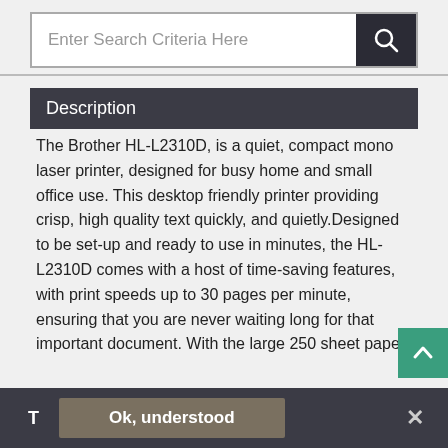[Figure (screenshot): Search bar with text input field reading 'Enter Search Criteria Here' and a dark search button with magnifying glass icon]
Description
The Brother HL-L2310D, is a quiet, compact mono laser printer, designed for busy home and small office use. This desktop friendly printer providing crisp, high quality text quickly, and quietly.Designed to be set-up and ready to use in minutes, the HL-L2310D comes with a host of time-saving features, with print speeds up to 30 pages per minute, ensuring that you are never waiting long for that important document. With the large 250 sheet paper tray, you no longer need to refill the paper tray as regularly. Together with a manual feed slot, that can handle a wide variety of paper types, you can have flexibility and laser quality documents - all from one compact machine.With cost being a key factor for many businesses, we've ensured that the HL-L2310D is cost-effective. Using our high yield toner cartridges, combined with
T  Ok, understood  ×